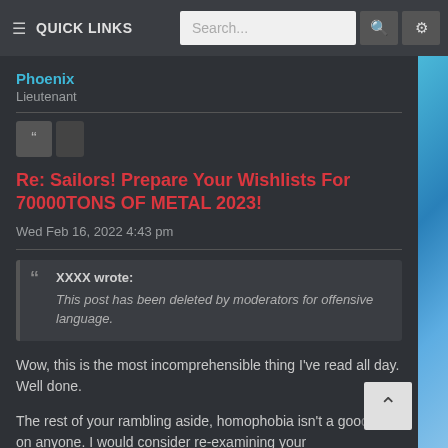≡ QUICK LINKS   Search...
Phoenix
Lieutenant
Re: Sailors! Prepare Your Wishlists For 70000TONS OF METAL 2023!
Wed Feb 16, 2022 4:43 pm
XXXX wrote:
This post has been deleted by moderators for offensive language.
Wow, this is the most incomprehensible thing I've read all day. Well done.
The rest of your rambling aside, homophobia isn't a good look on anyone. I would consider re-examining your